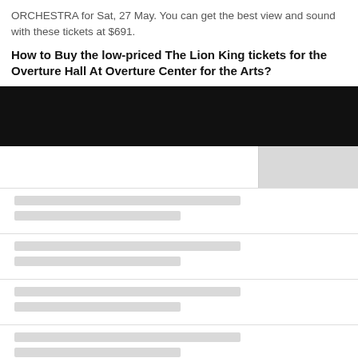ORCHESTRA for Sat, 27 May. You can get the best view and sound with these tickets at $691.
How to Buy the low-priced The Lion King tickets for the Overture Hall At Overture Center for the Arts?
[Figure (screenshot): Black banner/header bar followed by a gray sidebar area and a list of rows with gray placeholder bars representing loading content]